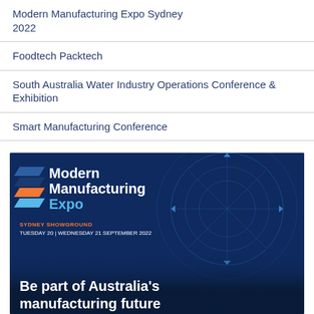Modern Manufacturing Expo Sydney 2022
Foodtech Packtech
South Australia Water Industry Operations Conference & Exhibition
Smart Manufacturing Conference
[Figure (illustration): Modern Manufacturing Expo banner with dark blue background, logo with chevron shapes, text: SYDNEY SHOWGROUND, TUESDAY 20 | WEDNESDAY 21 SEPTEMBER 2022, and tagline: Be part of Australia's manufacturing future]